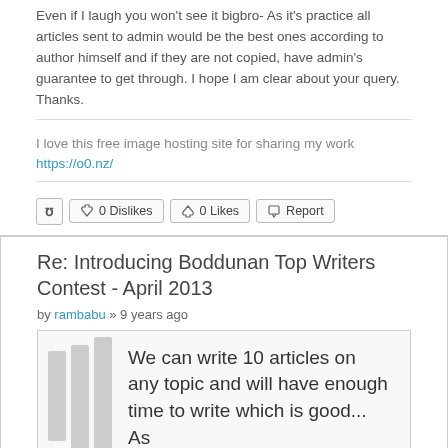Even if I laugh you won't see it bigbro- As it's practice all articles sent to admin would be the best ones according to author himself and if they are not copied, have admin's guarantee to get through. I hope I am clear about your query. Thanks.
I love this free image hosting site for sharing my work
https://o0.nz/
0 Dislikes  0 Likes  Report
Re: Introducing Boddunan Top Writers Contest - April 2013
by rambabu » 9 years ago
We can write 10 articles on any topic and will have enough time to write which is good... As